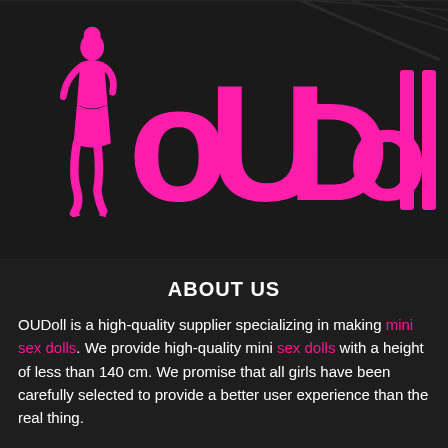[Figure (logo): OUDoll brand logo in pink on dark industrial background. Features a female silhouette figure followed by the text 'oUDoII' in large pink lettering.]
ABOUT US
OUDoll is a high-quality supplier specializing in making mini sex dolls. We provide high-quality mini sex dolls with a height of less than 140 cm. We promise that all girls have been carefully selected to provide a better user experience than the real thing.